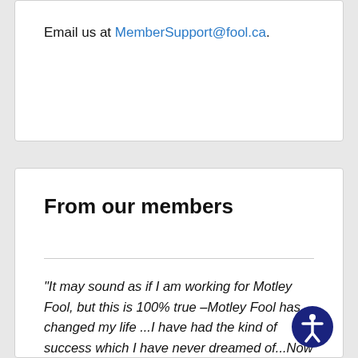Email us at MemberSupport@fool.ca.
From our members
"It may sound as if I am working for Motley Fool, but this is 100% true –Motley Fool has changed my life ...I have had the kind of success which I have never dreamed of...Now I have accumulated a well-